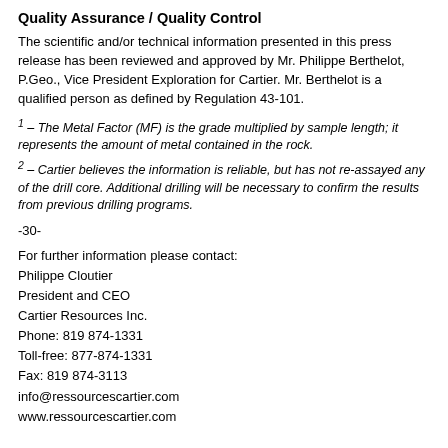Quality Assurance / Quality Control
The scientific and/or technical information presented in this press release has been reviewed and approved by Mr. Philippe Berthelot, P.Geo., Vice President Exploration for Cartier. Mr. Berthelot is a qualified person as defined by Regulation 43-101.
1 – The Metal Factor (MF) is the grade multiplied by sample length; it represents the amount of metal contained in the rock.
2 – Cartier believes the information is reliable, but has not re-assayed any of the drill core. Additional drilling will be necessary to confirm the results from previous drilling programs.
-30-
For further information please contact:
Philippe Cloutier
President and CEO
Cartier Resources Inc.
Phone: 819 874-1331
Toll-free: 877-874-1331
Fax: 819 874-3113
info@ressourcescartier.com
www.ressourcescartier.com